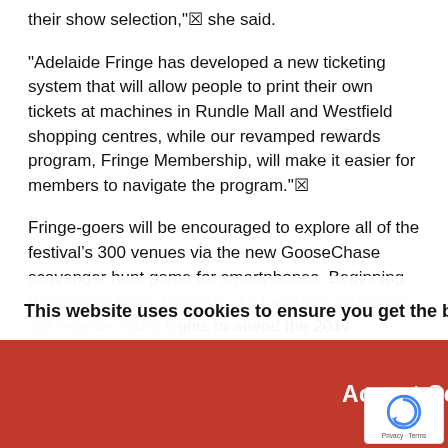their show selection," she said.
"Adelaide Fringe has developed a new ticketing system that will allow people to print their own tickets at machines in Rundle Mall and Westfield shopping centres, while our revamped rewards program, Fringe Membership, will make it easier for members to navigate the program."
Fringe-goers will be encouraged to explore all of the festival's 300 venues via the new GooseChase scavenger hunt game for smartphones. Beginning on opening night Thursday, 16 February, all winner will receive return flights to attend the 2017 Edinburgh Fringe (thanks to festival sponsor Qatar Airways).
This website uses cookies to ensure you get the best experience. Learn More
Accept Cookies
To participate, Fringe-goers need to download GooseChase from the app store and join the